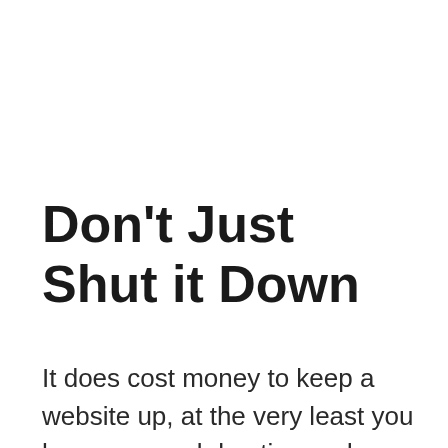Don’t Just Shut it Down
It does cost money to keep a website up, at the very least you have your web hosting and domain name expense. So there’s a